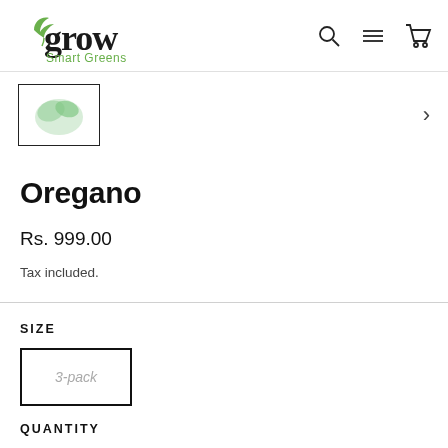grow Smart Greens
[Figure (logo): Grow Smart Greens logo with stylized cursive 'grow' text and leaf icon, with 'Smart Greens' subtitle in green]
[Figure (photo): Small thumbnail image of green herb leaves (oregano) with a black border box]
Oregano
Rs. 999.00
Tax included.
SIZE
3-pack
QUANTITY